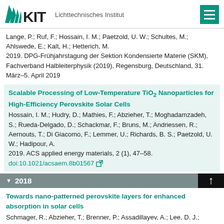KIT Lichttechnisches Institut
Lange, P.; Ruf, F.; Hossain, I. M.; Paetzold, U. W.; Schultes, M.; Ahlswede, E.; Kalt, H.; Hetterich, M.
2019. DPG-Frühjahrstagung der Sektion Kondensierte Materie (SKM), Fachverband Halbleiterphysik (2019), Regensburg, Deutschland, 31. März–5. April 2019
Scalable Processing of Low-Temperature TiO₂ Nanoparticles for High-Efficiency Perovskite Solar Cells
Hossain, I. M.; Hudry, D.; Mathies, F.; Abzieher, T.; Moghadamzadeh, S.; Rueda-Delgado, D.; Schackmar, F.; Bruns, M.; Andriessen, R.; Aernouts, T.; Di Giacomo, F.; Lemmer, U.; Richards, B. S.; Paetzold, U. W.; Hadipour, A.
2019. ACS applied energy materials, 2 (1), 47–58.
doi:10.1021/acsaem.8b01567
▼ 2018
Towards nano-patterned perovskite layers for enhanced absorption in solar cells
Schmager, R.; Abzieher, T.; Brenner, P.; Assadillayev, A.; Lee, D. J.; Moghadamzadeh, S.; Hossain, I. M.; Lemmer, U.; Richards, B. S.;